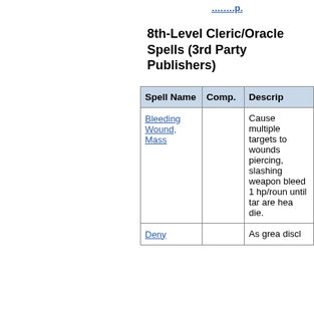8th-Level Cleric/Oracle Spells (3rd Party Publishers)
| Spell Name | Comp. | Descrip. |
| --- | --- | --- |
| Bleeding Wound, Mass |  | Cause multiple targets to wounds piercing, slashing weapon bleed 1 hp/round until tar are hea die. |
| Deny |  | As grea discl |